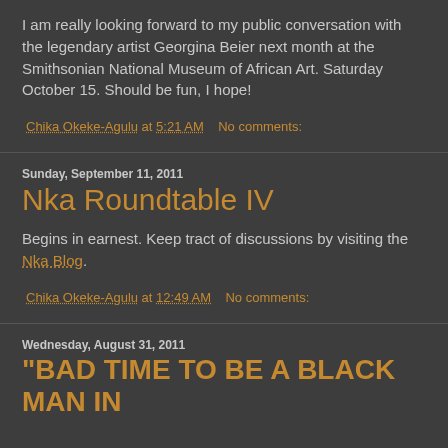I am really looking forward to my public conversation with the legendary artist Georgina Beier next month at the Smithsonian National Museum of African Art. Saturday October 15. Should be fun, I hope!
Chika Okeke-Agulu at 5:21 AM   No comments:
Sunday, September 11, 2011
Nka Roundtable IV
Begins in earnest. Keep tract of discussions by visiting the Nka Blog.
Chika Okeke-Agulu at 12:49 AM   No comments:
Wednesday, August 31, 2011
"BAD TIME TO BE A BLACK MAN IN